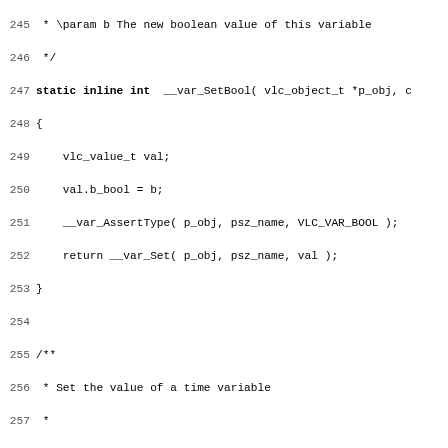Source code listing lines 245-277, showing C static inline functions __var_SetBool, __var_SetTime, and beginning of __var_SetFloat with Doxygen comments.